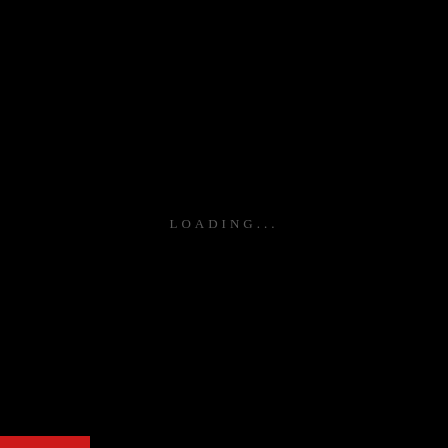LOADING...
[Figure (other): Red horizontal bar in bottom-left corner of a black screen]